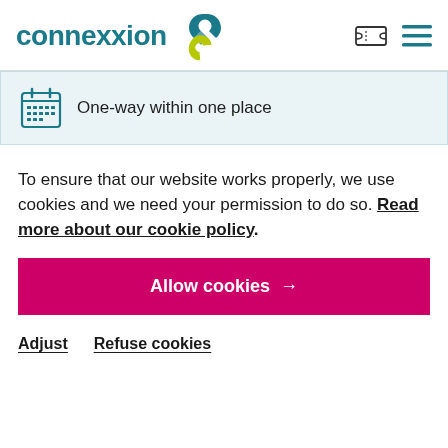[Figure (logo): Connexxion logo with teal text and green/teal chain-link icon]
One-way within one place
To ensure that our website works properly, we use cookies and we need your permission to do so. Read more about our cookie policy.
Allow cookies →
Adjust
Refuse cookies